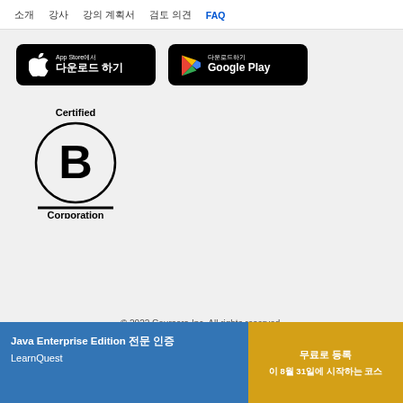소개  강사  강의 계획서  검토 의견  FAQ
[Figure (screenshot): App Store에서 다운로드 하기 button (black rounded rectangle with Apple logo)]
[Figure (screenshot): 다운로드하기 Google Play button (black rounded rectangle with Google Play logo)]
[Figure (logo): Certified B Corporation logo — circle with B, horizontal line, 'Corporation' text below]
© 2022 Coursera Inc. All rights reserved.
Java Enterprise Edition 전문 인증  LearnQuest
무료로 등록  이 8월 31일에 시작하는 코스